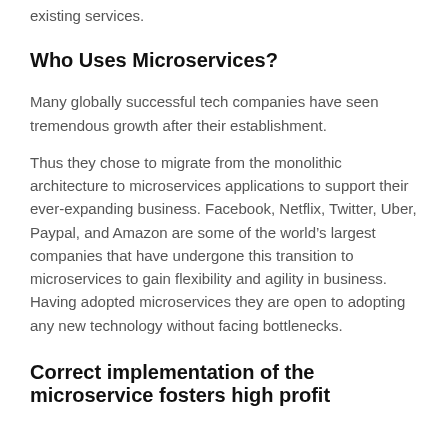existing services.
Who Uses Microservices?
Many globally successful tech companies have seen tremendous growth after their establishment.
Thus they chose to migrate from the monolithic architecture to microservices applications to support their ever-expanding business. Facebook, Netflix, Twitter, Uber, Paypal, and Amazon are some of the world’s largest companies that have undergone this transition to microservices to gain flexibility and agility in business. Having adopted microservices they are open to adopting any new technology without facing bottlenecks.
Correct implementation of the microservice fosters high profit